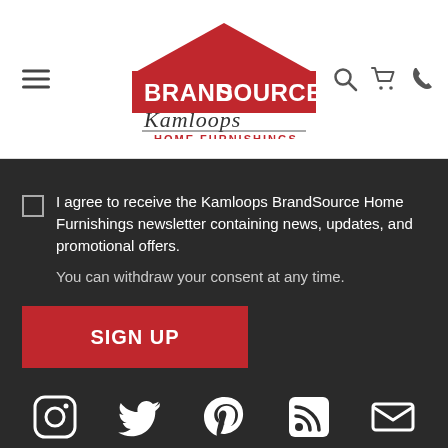[Figure (logo): BrandSource Kamloops Home Furnishings logo with red house shape, bold BRANDSOURCE text, script Kamloops text, and HOME FURNISHINGS text]
I agree to receive the Kamloops BrandSource Home Furnishings newsletter containing news, updates, and promotional offers.
You can withdraw your consent at any time.
SIGN UP